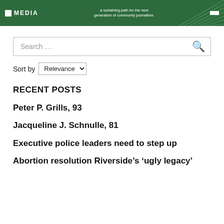[Figure (other): Green banner header for a media organization with logo, tagline reading 'a sustaining path for the next generation of community journalism.' and a white button]
Search …
Sort by Relevance
RECENT POSTS
Peter P. Grills, 93
Jacqueline J. Schnulle, 81
Executive police leaders need to step up
Abortion resolution Riverside's 'ugly legacy'